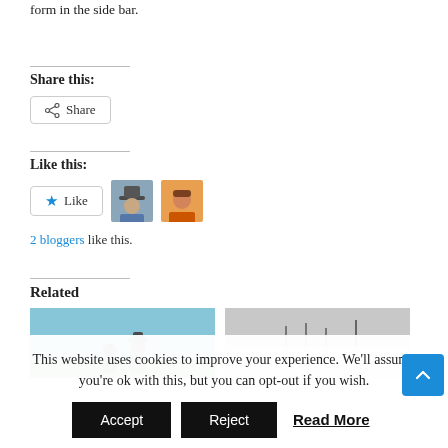form in the side bar.
Share this:
[Figure (screenshot): Share button with share icon]
Like this:
[Figure (screenshot): Like button with star icon and two blogger avatars. 2 bloggers like this.]
2 bloggers like this.
Related
[Figure (photo): Two related article thumbnail images side by side]
This website uses cookies to improve your experience. We'll assume you're ok with this, but you can opt-out if you wish.
Accept   Reject   Read More